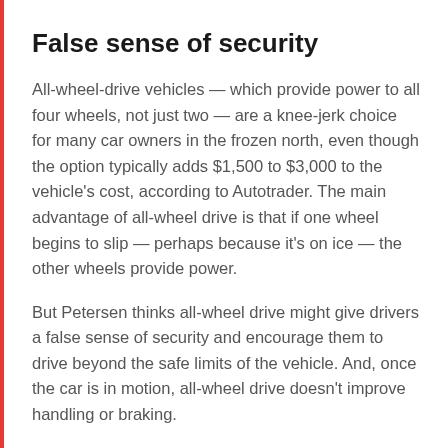False sense of security
All-wheel-drive vehicles — which provide power to all four wheels, not just two — are a knee-jerk choice for many car owners in the frozen north, even though the option typically adds $1,500 to $3,000 to the vehicle's cost, according to Autotrader. The main advantage of all-wheel drive is that if one wheel begins to slip — perhaps because it's on ice — the other wheels provide power.
But Petersen thinks all-wheel drive might give drivers a false sense of security and encourage them to drive beyond the safe limits of the vehicle. And, once the car is in motion, all-wheel drive doesn't improve handling or braking.
Also on MarketWatch—The 2020 Subaru Ascent review: